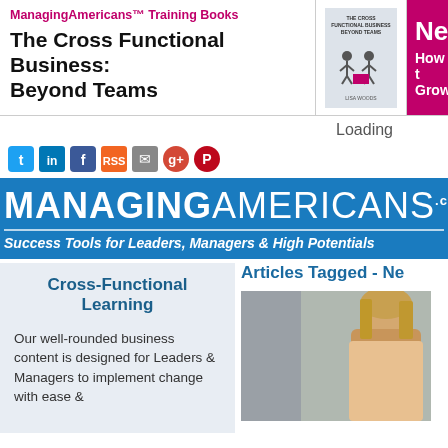[Figure (screenshot): ManagingAmericans Training Books banner with book title 'The Cross Functional Business: Beyond Teams' and a book cover image, plus a pink/magenta panel on the right showing 'Ne...' and 'How t... Grow...']
Loading
[Figure (infographic): Social media icons row: Twitter, LinkedIn, Facebook, RSS, Email, Google+, Pinterest]
[Figure (logo): MANAGINGAMERICANS.com logo on blue background with tagline: Success Tools for Leaders, Managers & High Potentials]
Cross-Functional Learning
Articles Tagged - Ne...
Our well-rounded business content is designed for Leaders & Managers to implement change with ease &
[Figure (photo): Photo of a woman with blonde hair]